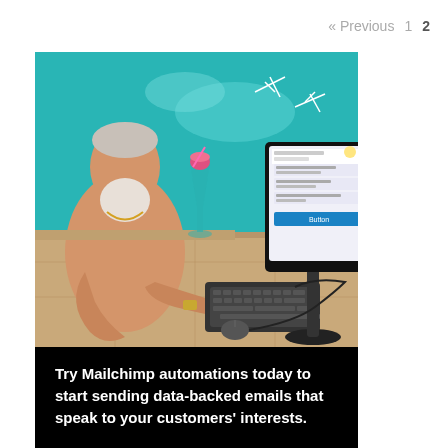« Previous  1  2
[Figure (photo): An older man with a white beard, sitting shirtless at the edge of a swimming pool, using a desktop computer with a keyboard. A pink cocktail in a martini glass sits next to the monitor. The pool water is bright teal in the background.]
Try Mailchimp automations today to start sending data-backed emails that speak to your customers' interests.